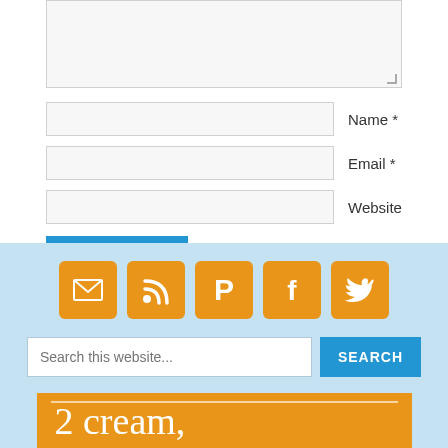[Figure (screenshot): Comment form textarea (top portion cut off), gray background]
Name *
Email *
Website
Post Comment
Notify me of follow-up comments by email.
Notify me of new posts by email.
[Figure (infographic): Footer area with light blue background, orange social media icons (email, RSS, Pinterest, Facebook, Twitter), search bar with SEARCH button, and orange banner with cursive text '2 cream,']